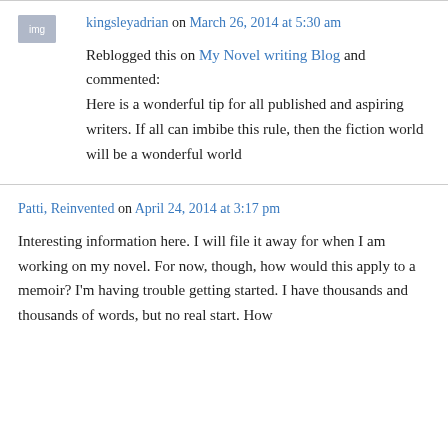kingsleyadrian on March 26, 2014 at 5:30 am
Reblogged this on My Novel writing Blog and commented: Here is a wonderful tip for all published and aspiring writers. If all can imbibe this rule, then the fiction world will be a wonderful world
Patti, Reinvented on April 24, 2014 at 3:17 pm
Interesting information here. I will file it away for when I am working on my novel. For now, though, how would this apply to a memoir? I'm having trouble getting started. I have thousands and thousands of words, but no real start. How